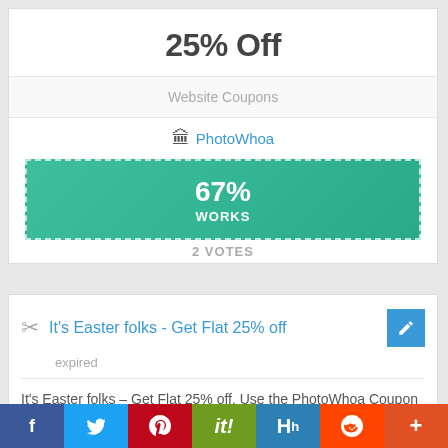25% Off
Website Coupons
PhotoWhoa
[Figure (infographic): Green banner showing 67% WORKS rating]
2 VOTES
It's Easter folks - Get Flat 25% off
expired
It's Easter folks – Get Flat 25% off. Use the PhotoWhoa Coupon Code at check out to save your money.... read more
Add Favorites last used 28 days 06 hours 49 minutes ago
f  Twitter  Pinterest  it!  Hh  Reddit  +